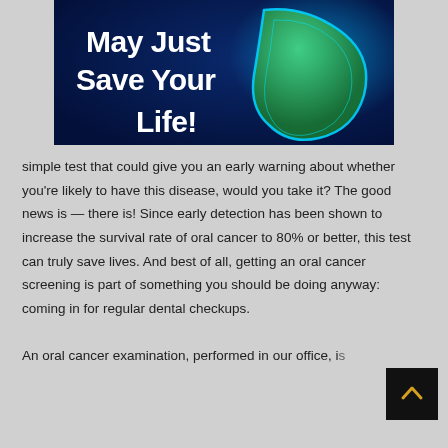[Figure (illustration): Dark blue banner image showing text 'May Just Save Your Life!' in bold white lettering with a glowing anatomical illustration of a mouth/throat on the right side]
simple test that could give you an early warning about whether you're likely to have this disease, would you take it? The good news is — there is! Since early detection has been shown to increase the survival rate of oral cancer to 80% or better, this test can truly save lives. And best of all, getting an oral cancer screening is part of something you should be doing anyway: coming in for regular dental checkups.
An oral cancer examination, performed in our office, i...